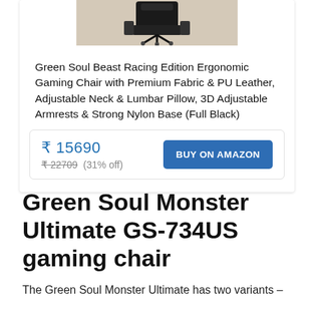[Figure (photo): Gaming chair product photo — black chair on wooden floor background]
Green Soul Beast Racing Edition Ergonomic Gaming Chair with Premium Fabric & PU Leather, Adjustable Neck & Lumbar Pillow, 3D Adjustable Armrests & Strong Nylon Base (Full Black)
₹ 15690  ₹ 22709  (31% off)  BUY ON AMAZON
Green Soul Monster Ultimate GS-734US gaming chair
The Green Soul Monster Ultimate has two variants –